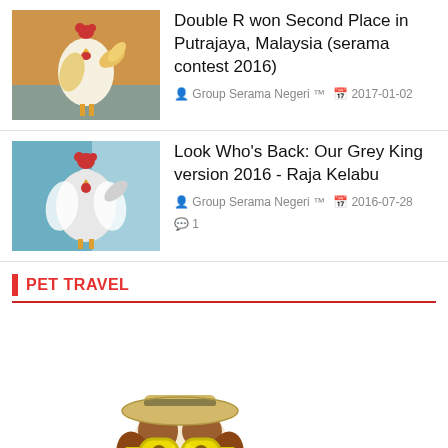Double R won Second Place in Putrajaya, Malaysia (serama contest 2016)
Group Serama Negeri ™  2017-01-02
Look Who's Back: Our Grey King version 2016 - Raja Kelabu
Group Serama Negeri ™  2016-07-28  1
PET TRAVEL
[Figure (photo): A Jack Russell Terrier dog dressed in a straw hat, yellow sunglasses, and a colorful necktie, sitting on a light blue suitcase against a white background.]